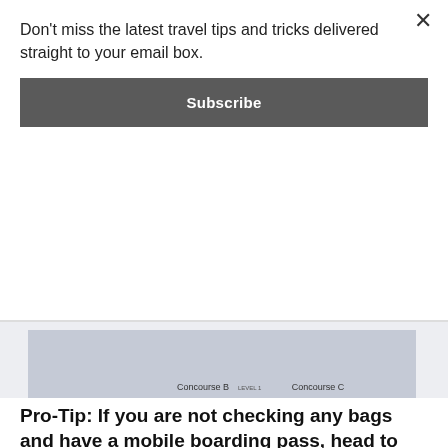Don't miss the latest travel tips and tricks delivered straight to your email box.
Subscribe
[Figure (map): Detroit Airport (DTW) terminal map showing McNamara Terminal, Concourse A, Concourse B, Concourse C, tunnel station, food courts, information points marked with red question mark icons, and level indicators.]
Detroit Airport (DTW)
Pro-Tip: If you are not checking any bags and have a mobile boarding pass, head to the ATL